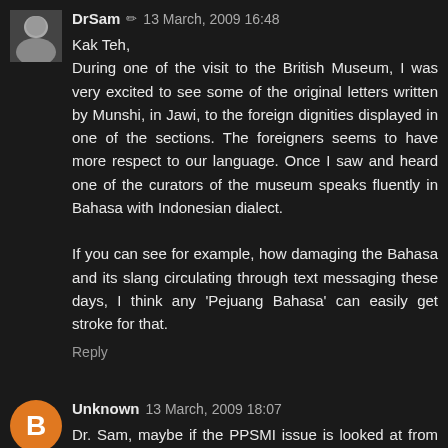[Figure (photo): Small black and white avatar photo of DrSam]
DrSam ✏ 13 March, 2009 16:48
Kak Teh,
During one of the visit to the British Museum, I was very excited to see some of the original letters written by Munshi, in Jawi, to the foreign dignities displayed in one of the sections. The foreigners seems to have more respect to our language. Once I saw and heard one of the curators of the museum speaks fluently in Bahasa with Indonesian dialect.

If you can see for example, how damaging the Bahasa and its slang circulating through text messaging these days, I think any 'Pejuang Bahasa' can easily get stroke for that.
Reply
[Figure (illustration): Orange circle avatar with letter B for Unknown blogger user]
Unknown 13 March, 2009 18:07
Dr. Sam, maybe if the PPSMI issue is looked at from the critical pedagogue perspective we might be able to ask the right question to know what they have behind the fight. Have we ever asked the question to whose interest is